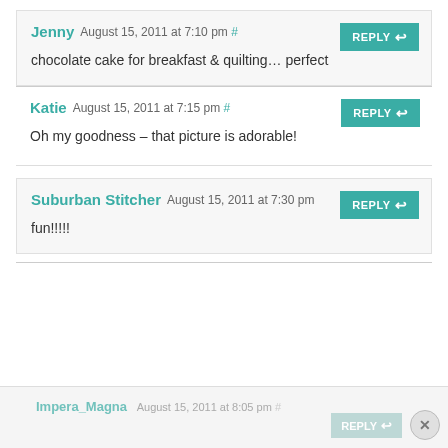Jenny August 15, 2011 at 7:10 pm #
chocolate cake for breakfast & quilting… perfect
Katie August 15, 2011 at 7:15 pm #
Oh my goodness – that picture is adorable!
Suburban Stitcher August 15, 2011 at 7:30 pm
fun!!!!!
Impera_Magna August 15, 2011 at 8:05 pm #